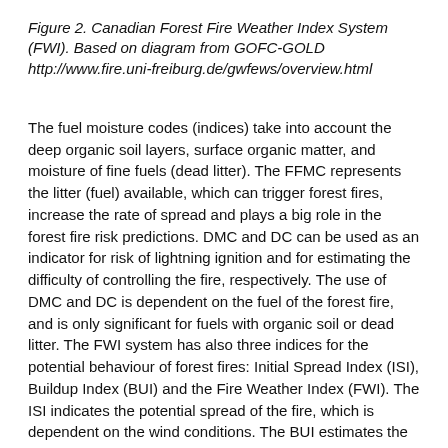Figure 2. Canadian Forest Fire Weather Index System (FWI). Based on diagram from GOFC-GOLD http://www.fire.uni-freiburg.de/gwfews/overview.html
The fuel moisture codes (indices) take into account the deep organic soil layers, surface organic matter, and moisture of fine fuels (dead litter). The FFMC represents the litter (fuel) available, which can trigger forest fires, increase the rate of spread and plays a big role in the forest fire risk predictions. DMC and DC can be used as an indicator for risk of lightning ignition and for estimating the difficulty of controlling the fire, respectively. The use of DMC and DC is dependent on the fuel of the forest fire, and is only significant for fuels with organic soil or dead litter. The FWI system has also three indices for the potential behaviour of forest fires: Initial Spread Index (ISI), Buildup Index (BUI) and the Fire Weather Index (FWI). The ISI indicates the potential spread of the fire, which is dependent on the wind conditions. The BUI estimates the fuel which is available for the forest fire, leading to an estimation of a potential severity increase. The main index is the FWI, which indicates fire intensity and is used as an estimation of